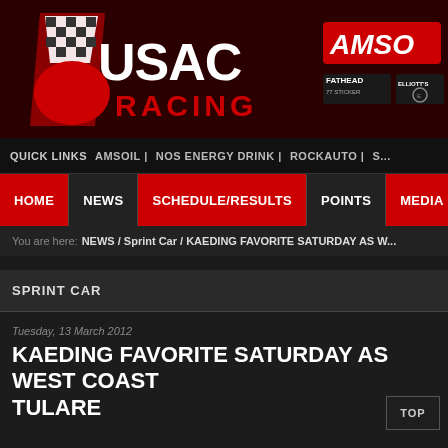[Figure (logo): USAC Racing logo with red and white checkered flag design on dark red background]
[Figure (logo): AMSOIL and Fathead/Elliott's sponsor logos on dark red background]
QUICK LINKS   AMSOIL |   NOS ENERGY DRINK |   ROCKAUTO |   S...
HOME   NEWS   SCHEDULE/RESULTS   POINTS   MEDIA
You are here: NEWS / Sprint Car / KAEDING FAVORITE SATURDAY AS W...
SPRINT CAR
Tuesday, 13 March 2012
KAEDING FAVORITE SATURDAY AS WEST COAST TULARE